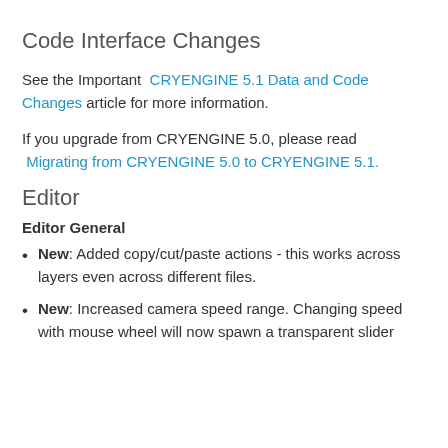Code Interface Changes
See the Important CRYENGINE 5.1 Data and Code Changes article for more information.
If you upgrade from CRYENGINE 5.0, please read Migrating from CRYENGINE 5.0 to CRYENGINE 5.1.
Editor
Editor General
New: Added copy/cut/paste actions - this works across layers even across different files.
New: Increased camera speed range. Changing speed with mouse wheel will now spawn a transparent slider